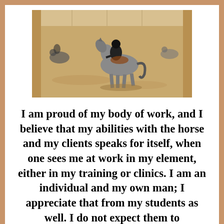[Figure (photo): Indoor equestrian arena with a rider on a gray horse trotting across a sandy floor. Other horses and riders visible in the background. Wooden walls and structural beams of the arena are visible.]
I am proud of my body of work, and I believe that my abilities with the horse and my clients speaks for itself, when one sees me at work in my element, either in my training or clinics. I am an individual and my own man; I appreciate that from my students as well. I do not expect them to